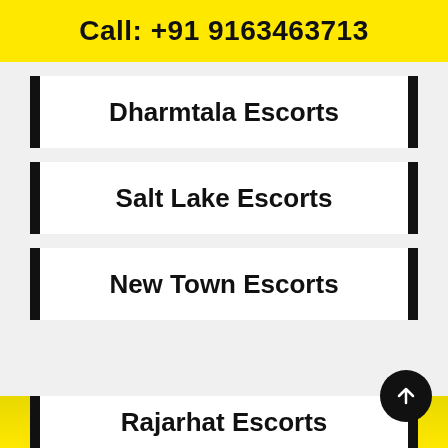Call: +91 9163463713
Dharmtala Escorts
Salt Lake Escorts
New Town Escorts
Russian Escorts
Rajarhat Escorts